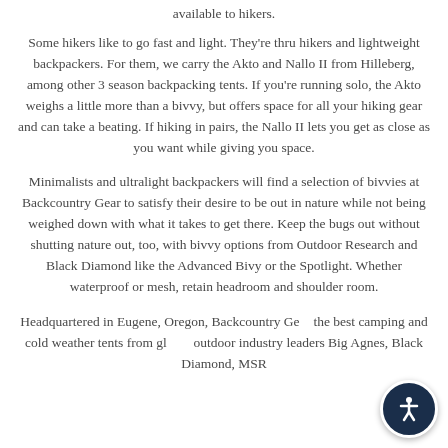available to hikers.
Some hikers like to go fast and light. They're thru hikers and lightweight backpackers. For them, we carry the Akto and Nallo II from Hilleberg, among other 3 season backpacking tents. If you're running solo, the Akto weighs a little more than a bivvy, but offers space for all your hiking gear and can take a beating. If hiking in pairs, the Nallo II lets you get as close as you want while giving you space.
Minimalists and ultralight backpackers will find a selection of bivvies at Backcountry Gear to satisfy their desire to be out in nature while not being weighed down with what it takes to get there. Keep the bugs out without shutting nature out, too, with bivvy options from Outdoor Research and Black Diamond like the Advanced Bivy or the Spotlight. Whether waterproof or mesh, retain headroom and shoulder room.
Headquartered in Eugene, Oregon, Backcountry Gear the best camping and cold weather tents from gl outdoor industry leaders Big Agnes, Black Diamond, MSR